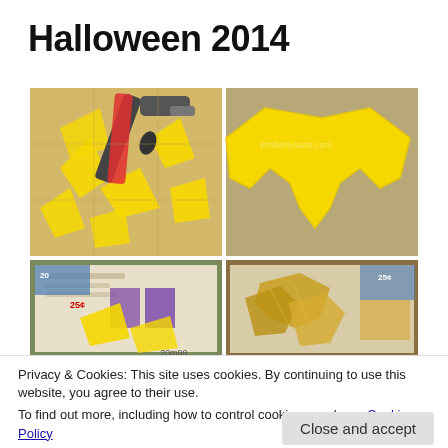Halloween 2014
[Figure (photo): Four-panel photo collage showing steps of making a Halloween bat wing costume piece from yellow foam/paper: top-left shows cut yellow pieces and scissors on tiled floor, top-right shows assembled yellow bat wing shape, bottom-left shows yellow pieces being spray-painted over newspaper with store ads visible, bottom-right shows finished golden/painted bat wing pieces.]
Privacy & Cookies: This site uses cookies. By continuing to use this website, you agree to their use.
To find out more, including how to control cookies, see here: Cookie Policy
Close and accept
+ Follow